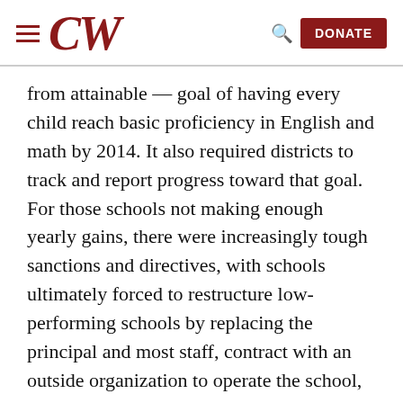CW — navigation header with hamburger menu, CW logo, search icon, and DONATE button
from attainable — goal of having every child reach basic proficiency in English and math by 2014. It also required districts to track and report progress toward that goal. For those schools not making enough yearly gains, there were increasingly tough sanctions and directives, with schools ultimately forced to restructure low-performing schools by replacing the principal and most staff, contract with an outside organization to operate the school, or take other drastic steps.
Those mandates, and the focus on standardized test results as the barometer for measuring school performance, have become increasingly unpopular. The